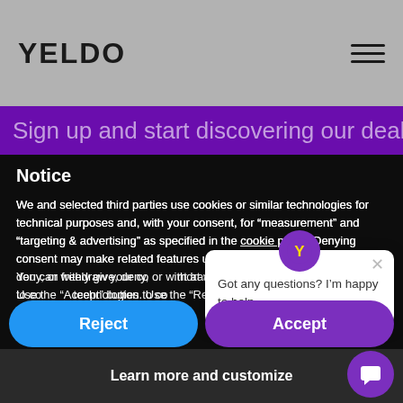YELDO
Sign up and start discovering our deals
Notice
We and selected third parties use cookies or similar technologies for technical purposes and, with your consent, for “measurement” and “targeting & advertising” as specified in the cookie policy. Denying consent may make related features unavailable. You can freely give, deny, or withdraw your consent at any time. Use the “Accept” button to consent to the use of such technologies. Use the “Reject” button to continue without accepting.
Got any questions? I’m happy to help.
Reject
Accept
Learn more and customize